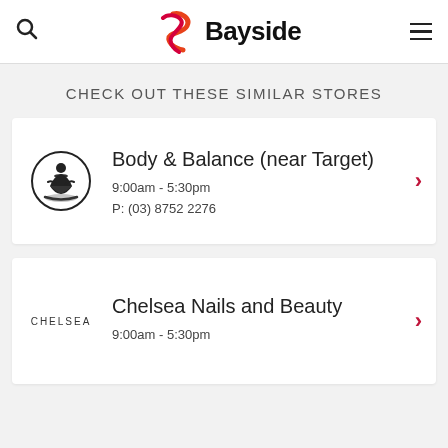[Figure (logo): Bayside logo with red and orange ribbon/swirl icon and bold text 'Bayside']
CHECK OUT THESE SIMILAR STORES
Body & Balance (near Target)
9:00am - 5:30pm
P: (03) 8752 2276
Chelsea Nails and Beauty
9:00am - 5:30pm